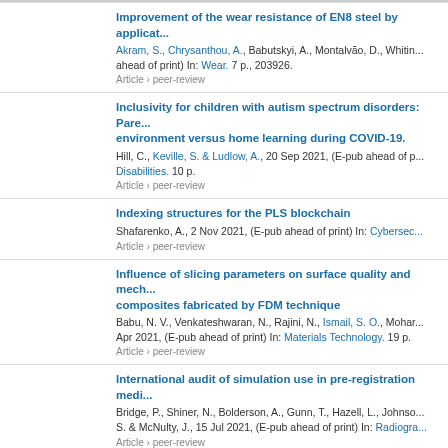Improvement of the wear resistance of EN8 steel by application... Akram, S., Chrysanthou, A., Babutskyi, A., Montalvão, D., Whitin... ahead of print) In: Wear. 7 p., 203926. Article > peer-review
Inclusivity for children with autism spectrum disorders: Pare... environment versus home learning during COVID-19. Hill, C., Keville, S. & Ludlow, A., 20 Sep 2021, (E-pub ahead of p... Disabilities. 10 p. Article > peer-review
Indexing structures for the PLS blockchain Shafarenko, A., 2 Nov 2021, (E-pub ahead of print) In: Cybersec... Article > peer-review
Influence of slicing parameters on surface quality and mech... composites fabricated by FDM technique Babu, N. V., Venkateshwaran, N., Rajini, N., Ismail, S. O., Mohar... Apr 2021, (E-pub ahead of print) In: Materials Technology. 19 p. Article > peer-review
International audit of simulation use in pre-registration medi... Bridge, P., Shiner, N., Bolderson, A., Gunn, T., Hazell, L., Johnson... S. & McNulty, J., 15 Jul 2021, (E-pub ahead of print) In: Radiogra... Article > peer-review
Intravesical Chemohyperthermia vs. Bacillus Calmette-Gueri... Risk Non-muscle Invasive Bladder Cancer: A Systematic Rev... Zhao, H., Chan, V. W-S., Castellani, D., Chan, E. O-T., Ong, W. L... Pradere, B., Ng, C-F., Enikeev, D., Vasdev, N., Ekin, G., Sousa, A... J., Shariat, S. F., Witjes, J. A. & 1 others, , 23 Nov 2021, (E-pub a... 775527. Article > peer-review
LAMP Detection and Identification of the Blackleg pathoge...